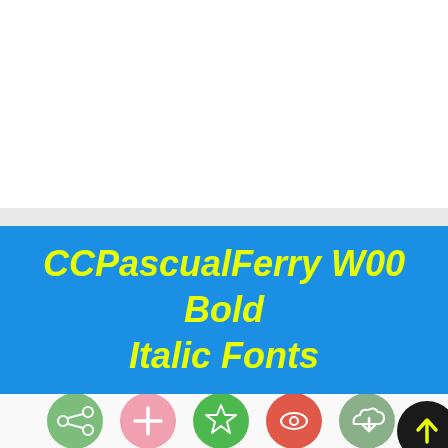CCPascualFerry W00 Bold Italic Fonts
[Figure (infographic): Row of six circular icon buttons: share (green), plus (pink), star (green), eye (red-orange), cloud download (gray-green), upload arrow (black)]